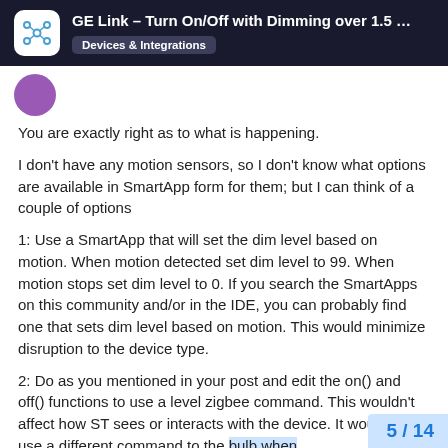GE Link – Turn On/Off with Dimming over 1.5 … | Devices & Integrations
You are exactly right as to what is happening.
I don't have any motion sensors, so I don't know what options are available in SmartApp form for them; but I can think of a couple of options
1: Use a SmartApp that will set the dim level based on motion. When motion detected set dim level to 99. When motion stops set dim level to 0. If you search the SmartApps on this community and/or in the IDE, you can probably find one that sets dim level based on motion. This would minimize disruption to the device type.
2: Do as you mentioned in your post and edit the on() and off() functions to use a level zigbee command. This wouldn't affect how ST sees or interacts with the device. It would just use a different command to the bulb when on/off commands are received. Basically y… change two lines of code.
5 / 14